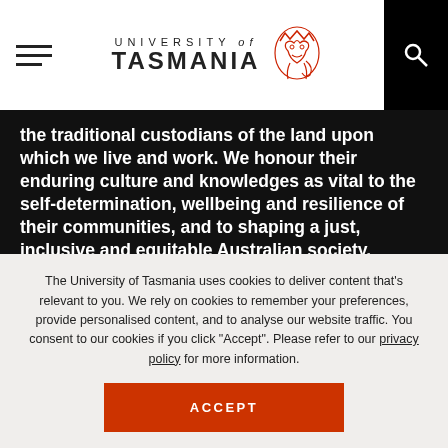University of Tasmania
the traditional custodians of the land upon which we live and work. We honour their enduring culture and knowledges as vital to the self-determination, wellbeing and resilience of their communities, and to shaping a just, inclusive and equitable Australian society.
Authorised by the Executive Director of Marketing. © 26 Aug 2022 University of Tasmania, Australia. ABN 30 764 374
The University of Tasmania uses cookies to deliver content that's relevant to you. We rely on cookies to remember your preferences, provide personalised content, and to analyse our website traffic. You consent to our cookies if you click "Accept". Please refer to our privacy policy for more information.
ACCEPT